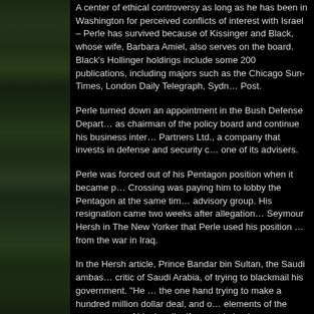[Figure (photo): Dark nature/foliage photograph forming a vertical strip on the left side of the page]
A center of ethical controversy as long as he has been in Washington for perceived conflicts of interest with Israel – Perle has survived because of Kissinger and Black, whose wife, Barbara Amiel, also serves on the board. Black's Hollinger holdings include some 200 publications, including majors such as the Chicago Sun-Times, London Daily Telegraph, Sydney Morning Herald Post.
Perle turned down an appointment in the Bush Defense Department to stay as chairman of the policy board and continue his business interests. Trireme Partners Ltd., a company that invests in defense and security companies, lists one of its advisers.
Perle was forced out of his Pentagon position when it became public that Global Crossing was paying him to lobby the Pentagon at the same time he chaired the advisory group. His resignation came two weeks after allegations by journalist Seymour Hersh in The New Yorker that Perle used his position to profit financially from the war in Iraq.
In the Hersh article, Prince Bandar bin Sultan, the Saudi ambassador, accused Perle, a critic of Saudi Arabia, of trying to blackmail his government. "He is on the one hand trying to make a hundred million dollar deal, and on the other hand there are elements of the appearance of blackmail – if we get in business together, I'll ease off."
Perle used his Pentagon position to lobby both for war and for the contract going to Ahmad Chalabi, the long-time Iraqi exile. Perle, Paul Wolfowitz...